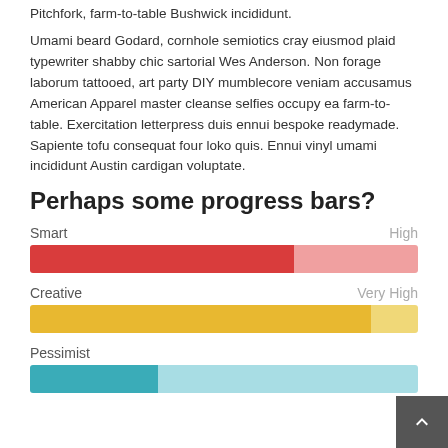Pitchfork, farm-to-table Bushwick incididunt.
Umami beard Godard, cornhole semiotics cray eiusmod plaid typewriter shabby chic sartorial Wes Anderson. Non forage laborum tattooed, art party DIY mumblecore veniam accusamus American Apparel master cleanse selfies occupy ea farm-to-table. Exercitation letterpress duis ennui bespoke readymade. Sapiente tofu consequat four loko quis. Ennui vinyl umami incididunt Austin cardigan voluptate.
Perhaps some progress bars?
[Figure (bar-chart): Smart]
[Figure (bar-chart): Creative]
[Figure (bar-chart): Pessimist]